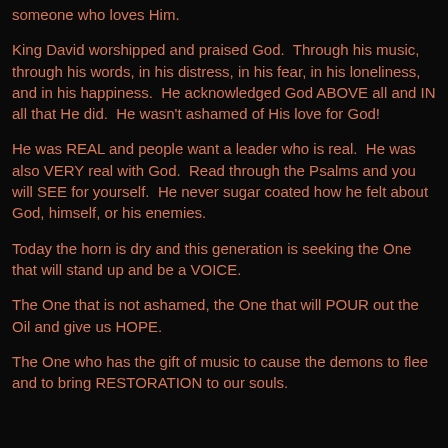someone who loves Him.
King David worshipped and praised God.  Through his music, through his words, in his distress, in his fear, in his loneliness, and in his happiness.  He acknowledged God ABOVE all and IN all that He did.  He wasn't ashamed of His love for God!
He was REAL and people want a leader who is real.  He was also VERY real with God.  Read through the Psalms and you will SEE for yourself.  He never sugar coated how he felt about God, himself, or his enemies.
Today the horn is dry and this generation is seeking the One that will stand up and be a VOICE.
The One that is not ashamed, the One that will POUR out the Oil and give us HOPE.
The One who has the gift of music to cause the demons to flee and to bring RESTORATION to our souls.